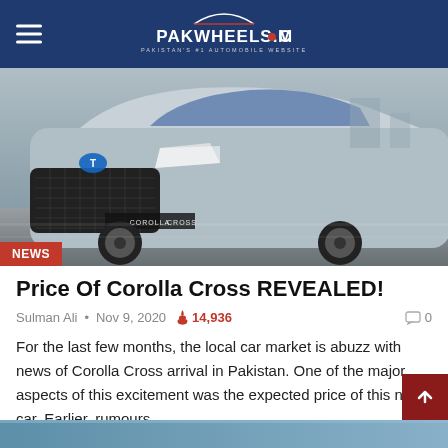PAKWHEELS.COM — PAKISTAN'S #1 AUTOMOBILE WEBSITE
[Figure (photo): Toyota Corolla Cross SUV front three-quarter view on road, silver color, with NEWS badge overlay]
Price Of Corolla Cross REVEALED!
Sulman Ali • Nov 9, 2020 🔥 14,936 💬 0
For the last few months, the local car market is abuzz with news of Corolla Cross arrival in Pakistan. One of the major aspects of this excitement was the expected price of this new car. Earlier, rumours...